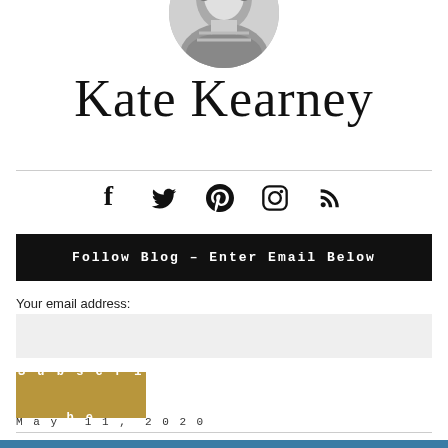[Figure (photo): Circular profile photo of a person, black and white, partially cropped at top]
Kate Kearney
[Figure (infographic): Social media icons: Facebook, Twitter, Pinterest, Instagram, RSS]
Follow Blog – Enter Email Below
Your email address:
Subscribe
May 11, 2020